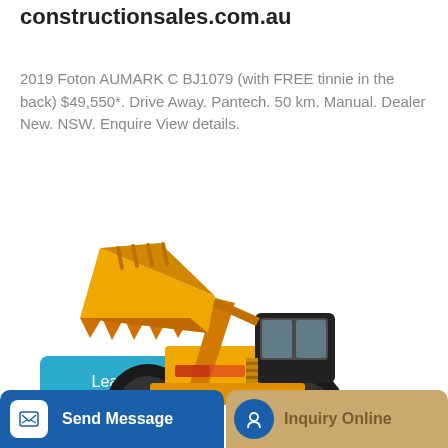constructionsales.com.au
2019 Foton AUMARK C BJ1079 (with FREE tinnie in the back) $49,550*. Drive Away. Pantech. 50 km. Manual. Dealer New. NSW. Enquire View details.
[Figure (photo): Yellow front-end loader / wheel loader construction machine with large bucket raised, shown on white background]
Send Message
Inquiry Online